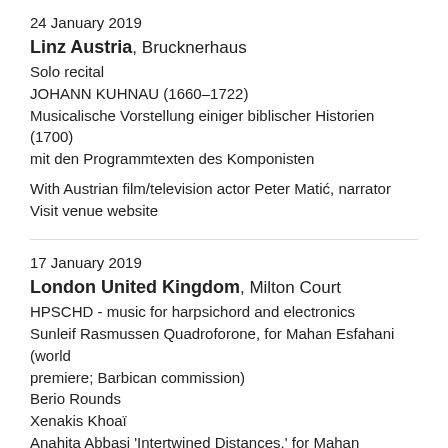24 January 2019
Linz Austria, Brucknerhaus
Solo recital
JOHANN KUHNAU (1660–1722)
Musicalische Vorstellung einiger biblischer Historien (1700) mit den Programmtexten des Komponisten
With Austrian film/television actor Peter Matić, narrator
Visit venue website
17 January 2019
London United Kingdom, Milton Court
HPSCHD - music for harpsichord and electronics
Sunleif Rasmussen Quadroforone, for Mahan Esfahani (world premiere; Barbican commission)
Berio Rounds
Xenakis Khoaï
Anahita Abbasi 'Intertwined Distances,' for Mahan Esfahani (UK premiere)